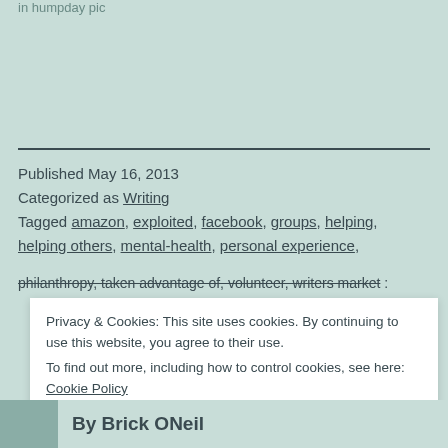in  humpday pic
Published May 16, 2013
Categorized as Writing
Tagged amazon, exploited, facebook, groups, helping, helping others, mental-health, personal experience, philanthropy, taken advantage of, volunteer, writers market
Privacy & Cookies: This site uses cookies. By continuing to use this website, you agree to their use.
To find out more, including how to control cookies, see here: Cookie Policy
Close and accept
By Brick ONeil